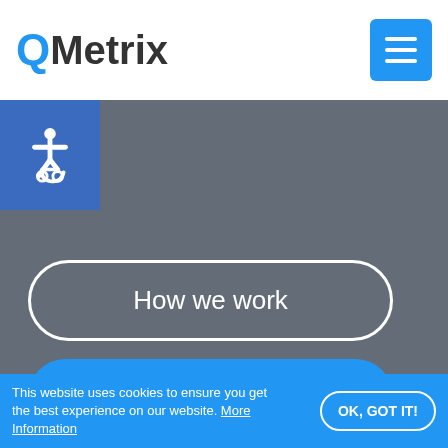QMetrix
[Figure (logo): QMetrix logo with blue Q and dark Metrix text, plus blue hamburger menu button]
[Figure (infographic): Blue accessibility/wheelchair icon on dark blue square background]
How we work
Let's chat
Consulting
This website uses cookies to ensure you get the best experience on our website. More Information
OK, GOT IT!